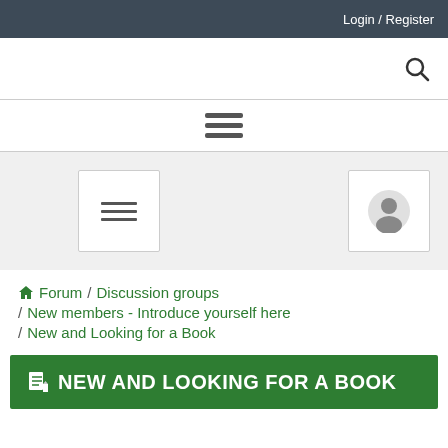Login / Register
[Figure (screenshot): Search bar area with search icon on the right]
[Figure (screenshot): Hamburger menu icon (three horizontal lines)]
[Figure (screenshot): Middle section with a menu button (three lines) and a user account icon button]
Forum / Discussion groups / New members - Introduce yourself here / New and Looking for a Book
NEW AND LOOKING FOR A BOOK